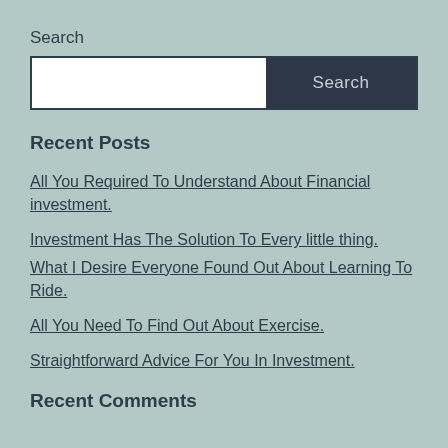Search
Recent Posts
All You Required To Understand About Financial investment.
Investment Has The Solution To Every little thing.
What I Desire Everyone Found Out About Learning To Ride.
All You Need To Find Out About Exercise.
Straightforward Advice For You In Investment.
Recent Comments